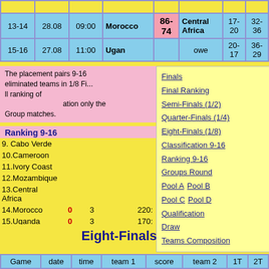| Game | date | time | team 1 | score | team 2 | 1T | 2T |
| --- | --- | --- | --- | --- | --- | --- | --- |
| 13-14 | 28.08 | 09:00 | Morocco | 86-74 | Central Africa | 17-20 | 32-36 |
| 15-16 | 27.08 | 11:00 | Uganda |  | owe | 20-17 | 36-29 |
The placement pairs 9-16 eliminated teams in 1/8 Fi... Group matches.
Ranking 9-16
| # | Team | W | L | For: | Ag. | pd | Group |
| --- | --- | --- | --- | --- | --- | --- | --- |
| 9. | Cabo Verde |  |  |  |  | +40 | 1. Gr. |
| 10. | Cameroon |  |  |  |  | +34 | 2. Gr. |
| 11. | Ivory Coast |  |  |  |  | -1 | 2. Gr. |
| 12. | Mozambique |  |  |  |  | -19 | 3. Gr. |
| 13. | Central Africa |  |  |  |  | -37 | 3. Gr. |
| 14. | Morocco | 0 | 3 | 220: | 230 | -10 | 4. Gr. |
| 15. | Uganda | 0 | 3 | 170: | 235 | -65 | 4. Gr. |
| 16. | Zimbabwe | 0 | 3 | 184: | 227 | -43 | 4. Gr. |
Eight-Finals (1/8)
| Game | date | time | team 1 | score | team 2 | 1T | 2T |
| --- | --- | --- | --- | --- | --- | --- | --- |
Finals
Final Ranking
Semi-Finals (1/2)
Quarter-Finals (1/4)
Eight-Finals (1/8)
Classification 9-16
Ranking 9-16
Groups Round
Pool A Pool B
Pool C Pool D
Qualification
Draw
Teams Composition